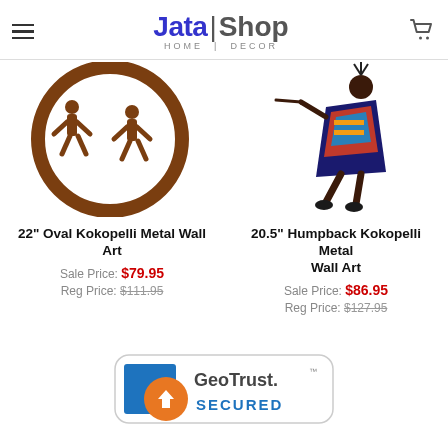[Figure (logo): Jata Shop Home Decor logo with hamburger menu and cart icon]
[Figure (photo): 22 inch Oval Kokopelli Metal Wall Art - brown metal circular wall art with kokopelli figures]
[Figure (photo): 20.5 inch Humpback Kokopelli Metal Wall Art - colorful kokopelli figure]
22" Oval Kokopelli Metal Wall Art
Sale Price: $79.95
Reg Price: $111.95
20.5" Humpback Kokopelli Metal Wall Art
Sale Price: $86.95
Reg Price: $127.95
[Figure (logo): GeoTrust Secured badge]